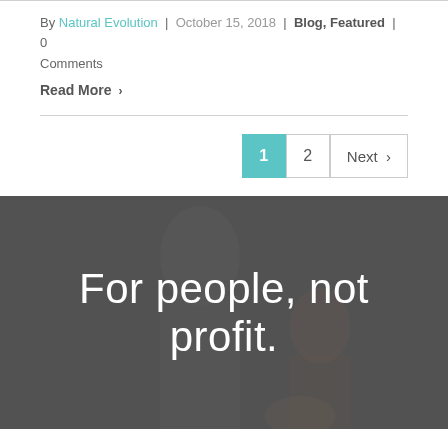By Natural Evolution | October 15, 2018 | Blog, Featured | 0 Comments
Read More >
1  2  Next >
[Figure (photo): Dark overlay hero image showing a family (adult and child), with large white text reading 'For people, not profit.']
For people, not profit.